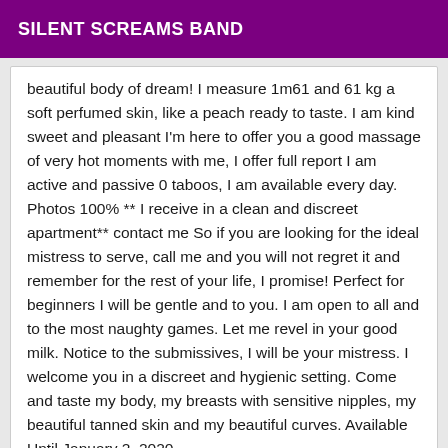SILENT SCREAMS BAND
beautiful body of dream! I measure 1m61 and 61 kg a soft perfumed skin, like a peach ready to taste. I am kind sweet and pleasant I'm here to offer you a good massage of very hot moments with me, I offer full report I am active and passive 0 taboos, I am available every day. Photos 100% ** I receive in a clean and discreet apartment** contact me So if you are looking for the ideal mistress to serve, call me and you will not regret it and remember for the rest of your life, I promise! Perfect for beginners I will be gentle and to you. I am open to all and to the most naughty games. Let me revel in your good milk. Notice to the submissives, I will be your mistress. I welcome you in a discreet and hygienic setting. Come and taste my body, my breasts with sensitive nipples, my beautiful tanned skin and my beautiful curves. Available Until January 2, 2020
Online